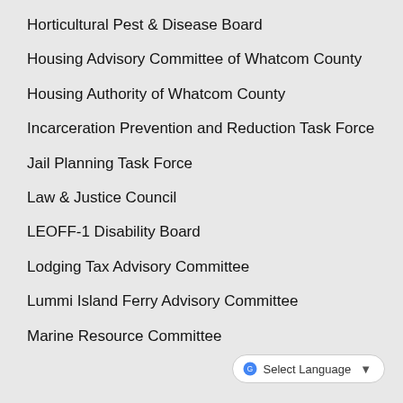Horticultural Pest & Disease Board
Housing Advisory Committee of Whatcom County
Housing Authority of Whatcom County
Incarceration Prevention and Reduction Task Force
Jail Planning Task Force
Law & Justice Council
LEOFF-1 Disability Board
Lodging Tax Advisory Committee
Lummi Island Ferry Advisory Committee
Marine Resource Committee